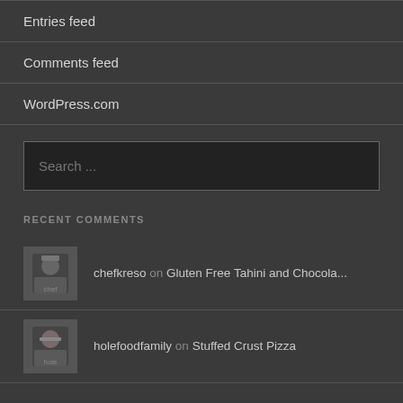Entries feed
Comments feed
WordPress.com
Search ...
RECENT COMMENTS
chefkreso on Gluten Free Tahini and Chocola...
holefoodfamily on Stuffed Crust Pizza